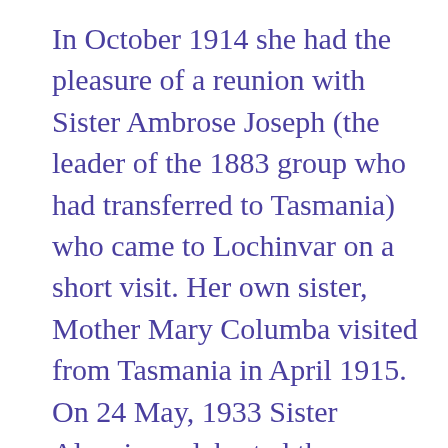In October 1914 she had the pleasure of a reunion with Sister Ambrose Joseph (the leader of the 1883 group who had transferred to Tasmania) who came to Lochinvar on a short visit. Her own sister, Mother Mary Columba visited from Tasmania in April 1915. On 24 May, 1933 Sister Aloysius celebrated the golden jubilee of her profession, the first golden jubilee in the congregation. The day was made memorable by Solemn High Mass presided over by the bishop. September 1933 was another milestone - the 50th anniversary of the foundation at Lochinvar. Sister M...